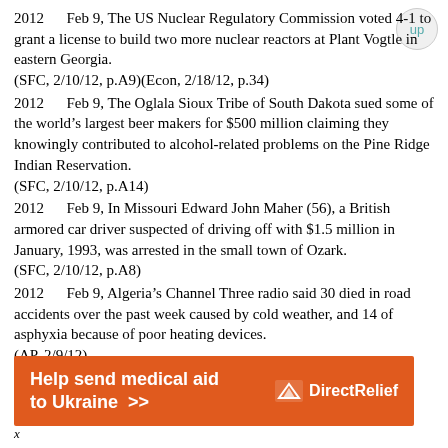2012    Feb 9, The US Nuclear Regulatory Commission voted 4-1 to grant a license to build two more nuclear reactors at Plant Vogtle in eastern Georgia.
    (SFC, 2/10/12, p.A9)(Econ, 2/18/12, p.34)
2012    Feb 9, The Oglala Sioux Tribe of South Dakota sued some of the world’s largest beer makers for $500 million claiming they knowingly contributed to alcohol-related problems on the Pine Ridge Indian Reservation.
    (SFC, 2/10/12, p.A14)
2012    Feb 9, In Missouri Edward John Maher (56), a British armored car driver suspected of driving off with $1.5 million in January, 1993, was arrested in the small town of Ozark.
    (SFC, 2/10/12, p.A8)
2012    Feb 9, Algeria’s Channel Three radio said 30 died in road accidents over the past week caused by cold weather, and 14 of asphyxia because of poor heating devices.
    (AP, 2/9/12)
2012    Feb 9, The IMF said it has extended its
[Figure (infographic): Orange advertisement banner: 'Help send medical aid to Ukraine >>' with Direct Relief logo on right side]